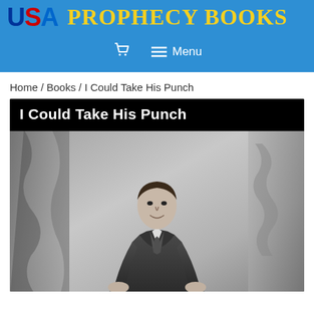USA Prophecy Books
🛒  ≡  Menu
Home / Books / I Could Take His Punch
[Figure (photo): Book cover for 'I Could Take His Punch' — black and white portrait photograph of a young man in a suit and tie, seated, with decorative drapery background. Title text 'I Could Take His Punch' appears in bold white text on a black bar at the top of the cover.]